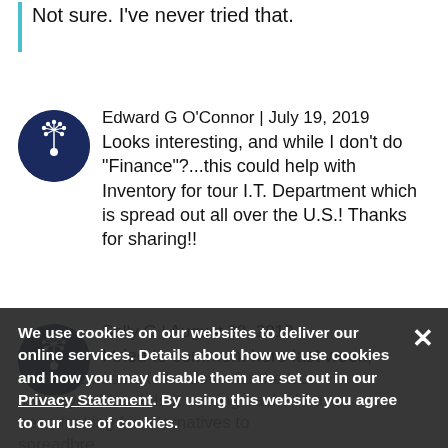Not sure. I've never tried that.
Edward G O'Connor | July 19, 2019
Looks interesting, and while I don't do "Finance"?...this could help with Inventory for tour I.T. Department which is spread out all over the U.S.! Thanks for sharing!!
Sally G | August 20, 2019
I tried to comment here last week; ethercalc seems to be down for the last few days at least. Is it coming back? I have been looking for alternatives to spreadbre...
We use cookies on our websites to deliver our online services. Details about how we use cookies and how you may disable them are set out in our Privacy Statement. By using this website you agree to our use of cookies.